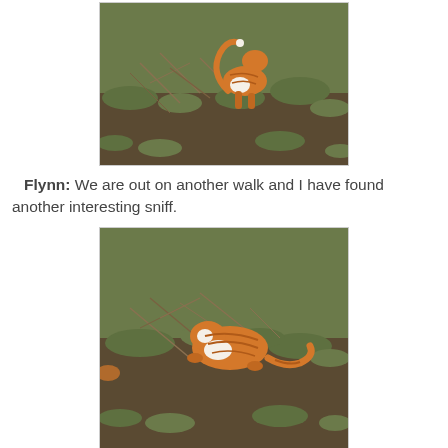[Figure (photo): Orange and white tabby cat walking through dry brown grass and brambles on a hillside, photographed from behind showing the cat's back and tail curled upward.]
Flynn:  We are out on another walk and I have found another interesting sniff.
[Figure (photo): Orange and white tabby cat crouching and sniffing at the ground among dry grass and brambles on a hillside, viewed from above at an angle.]
We are out on another walk and I think I...